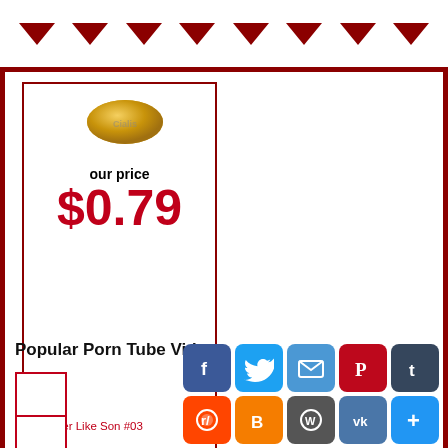▼ ▼ ▼ ▼ ▼ ▼ ▼ ▼
[Figure (photo): A yellow elliptical pill/tablet against white background]
our price
$0.79
Popular Porn Tube Videos
Like Father Like Son #03
North Pole #10
Sybian Rides 4 Giant Women
[Figure (infographic): Social sharing buttons: Facebook, Twitter, Email, Pinterest, Tumblr, Reddit, Blogger, WordPress, VK, More]